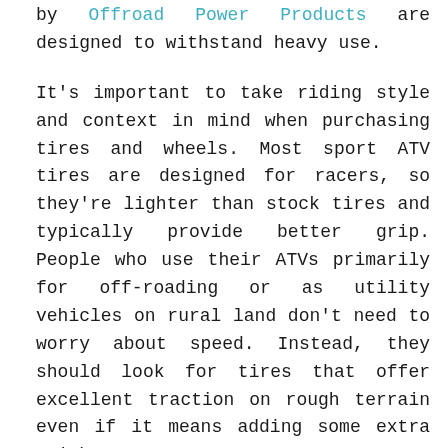by Offroad Power Products are designed to withstand heavy use.
It's important to take riding style and context in mind when purchasing tires and wheels. Most sport ATV tires are designed for racers, so they're lighter than stock tires and typically provide better grip. People who use their ATVs primarily for off-roading or as utility vehicles on rural land don't need to worry about speed. Instead, they should look for tires that offer excellent traction on rough terrain even if it means adding some extra weight.
Aftermarket Rims
Good aftermarket rims are more durable than lightweight stock models. They'll be better able to hold up to the stressful conditions found on trails and tracks. Most aftermarket ATV rims also weigh less than stock models, so they can also give ATV racers a speed boost. Plus, they turn